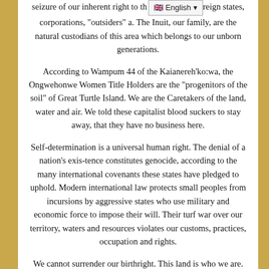seizure of our inherent right to th... reign states, corporations, "outsiders" a... The Inuit, our family, are the natural custodians of this area which belongs to our unborn generations.
According to Wampum 44 of the Kaianereh'ko:wa, the Ongwehonwe Women Title Holders are the "progenitors of the soil" of Great Turtle Island. We are the Caretakers of the land, water and air. We told these capitalist blood suckers to stay away, that they have no business here.
Self-determination is a universal human right. The denial of a nation's exis-tence constitutes genocide, according to the many international covenants these states have pledged to uphold. Modern international law protects small peoples from incursions by aggressive states who use military and economic force to impose their will. Their turf war over our territory, waters and resources violates our customs, practices, occupation and rights.
We cannot surrender our birthright. This land is who we are. The Western Sahara decision provides that a territory cannot be incorporated in another state without the informed consent of the